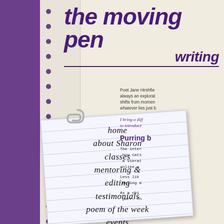the moving pen writing
home
about Sharon
classes
mentoring & editing
testimonials
poem of the week
events
Poet Jane Hirshfie always an explorat shifts from momen whatever lies just b
I bring a diff to introduce
Purring b
The inter how cats a vibrat unlike w
Less lik moving a
As a chi purr. Th